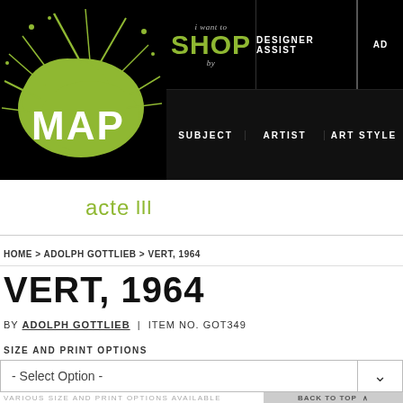[Figure (logo): MAP Acte III website header with black background, green paint splash logo on left, navigation on right showing 'i want to SHOP by', 'DESIGNER ASSIST', and nav items SUBJECT, ARTIST, ART STYLE]
acte III
HOME > ADOLPH GOTTLIEB > VERT, 1964
VERT, 1964
BY ADOLPH GOTTLIEB | ITEM NO. GOT349
SIZE AND PRINT OPTIONS
- Select Option -
VARIOUS SIZE AND PRINT OPTIONS AVAILABLE
BACK TO TOP